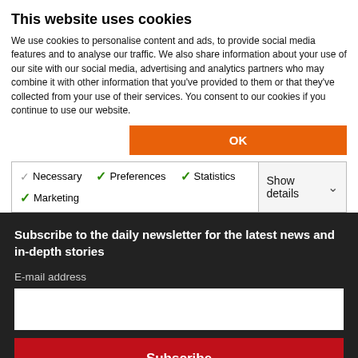This website uses cookies
We use cookies to personalise content and ads, to provide social media features and to analyse our traffic. We also share information about your use of our site with our social media, advertising and analytics partners who may combine it with other information that you've provided to them or that they've collected from your use of their services. You consent to our cookies if you continue to use our website.
[Figure (screenshot): OK button (orange) and cookie consent checkboxes row with Necessary (grey check), Preferences (green check), Statistics (green check), Marketing (green check), and Show details dropdown]
Subscribe to the daily newsletter for the latest news and in-depth stories
E-mail address
[Figure (screenshot): Email input text field (white rectangle)]
Subscribe